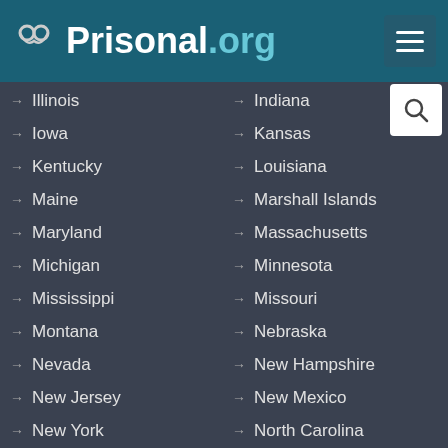Prisonal.org
Illinois
Iowa
Kentucky
Maine
Maryland
Michigan
Mississippi
Montana
Nevada
New Jersey
New York
North Dakota
Oklahoma
Pennsylvania
Rhode Island
South Dakota
Texas
Indiana
Kansas
Louisiana
Marshall Islands
Massachusetts
Minnesota
Missouri
Nebraska
New Hampshire
New Mexico
North Carolina
Ohio
Oregon
Puerto Rico
South Carolina
Tennessee
Utah